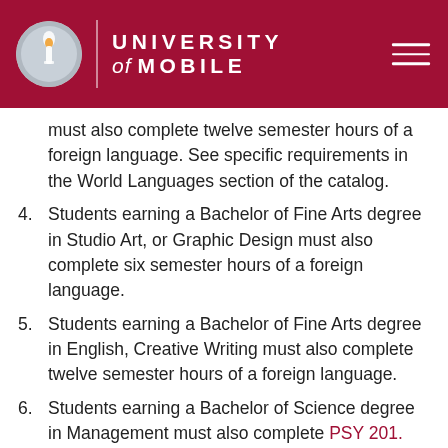University of Mobile
must also complete twelve semester hours of a foreign language. See specific requirements in the World Languages section of the catalog.
4. Students earning a Bachelor of Fine Arts degree in Studio Art, or Graphic Design must also complete six semester hours of a foreign language.
5. Students earning a Bachelor of Fine Arts degree in English, Creative Writing must also complete twelve semester hours of a foreign language.
6. Students earning a Bachelor of Science degree in Management must also complete PSY 201. Students earning a Bachelor of